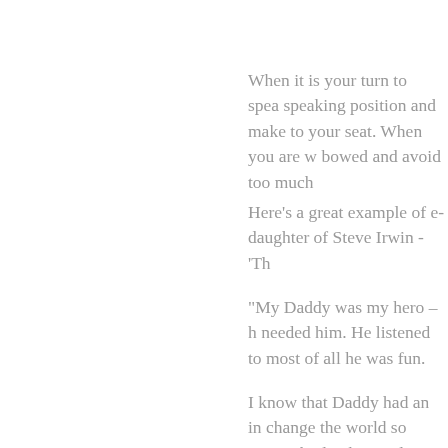When it is your turn to speak... speaking position and make... to your seat. When you are w... bowed and avoid too much...
Here's a great example of e... daughter of Steve Irwin - 'Th...
"My Daddy was my hero – h... needed him. He listened to... most of all he was fun.
I know that Daddy had an in... change the world so everyo... built a hospital to help anim...